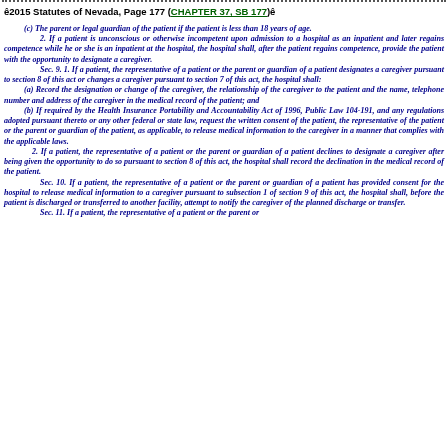©2015 Statutes of Nevada, Page 177 (CHAPTER 37, SB 177)©
(c)  The parent or legal guardian of the patient if the patient is less than 18 years of age.
2.    If a patient is unconscious or otherwise incompetent upon admission to a hospital as an inpatient and later regains competence while he or she is an inpatient at the hospital, the hospital shall, after the patient regains competence, provide the patient with the opportunity to designate a caregiver.
Sec. 9.   1.    If a patient, the representative of a patient or the parent or guardian of a patient designates a caregiver pursuant to section 8 of this act or changes a caregiver pursuant to section 7 of this act, the hospital shall:
(a)  Record the designation or change of the caregiver, the relationship of the caregiver to the patient and the name, telephone number and address of the caregiver in the medical record of the patient; and
(b)  If required by the Health Insurance Portability and Accountability Act of 1996, Public Law 104-191, and any regulations adopted pursuant thereto or any other federal or state law, request the written consent of the patient, the representative of the patient or the parent or guardian of the patient, as applicable, to release medical information to the caregiver in a manner that complies with the applicable laws.
2.    If a patient, the representative of a patient or the parent or guardian of a patient declines to designate a caregiver after being given the opportunity to do so pursuant to section 8 of this act, the hospital shall record the declination in the medical record of the patient.
Sec. 10.   If a patient, the representative of a patient or the parent or guardian of a patient has provided consent for the hospital to release medical information to a caregiver pursuant to subsection 1 of section 9 of this act, the hospital shall, before the patient is discharged or transferred to another facility, attempt to notify the caregiver of the planned discharge or transfer.
Sec. 11.   If a patient, the representative of a patient or the parent or